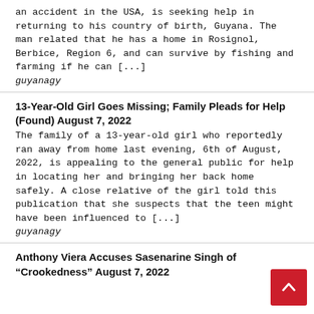an accident in the USA, is seeking help in returning to his country of birth, Guyana. The man related that he has a home in Rosignol, Berbice, Region 6, and can survive by fishing and farming if he can [...]
guyanagy
13-Year-Old Girl Goes Missing; Family Pleads for Help (Found) August 7, 2022
The family of a 13-year-old girl who reportedly ran away from home last evening, 6th of August, 2022, is appealing to the general public for help in locating her and bringing her back home safely. A close relative of the girl told this publication that she suspects that the teen might have been influenced to [...]
guyanagy
Anthony Viera Accuses Sasenarine Singh of "Crookedness" August 7, 2022